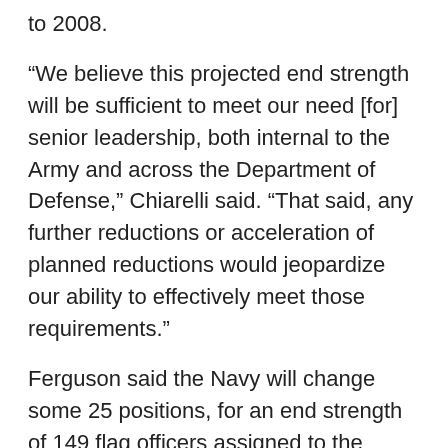to 2008.
“We believe this projected end strength will be sufficient to meet our need [for] senior leadership, both internal to the Army and across the Department of Defense,” Chiarelli said. “That said, any further reductions or acceleration of planned reductions would jeopardize our ability to effectively meet those requirements.”
Ferguson said the Navy will change some 25 positions, for an end strength of 149 flag officers assigned to the service and 60 in the joint pool.
“In addition, we downgraded 50 officers,” he said.